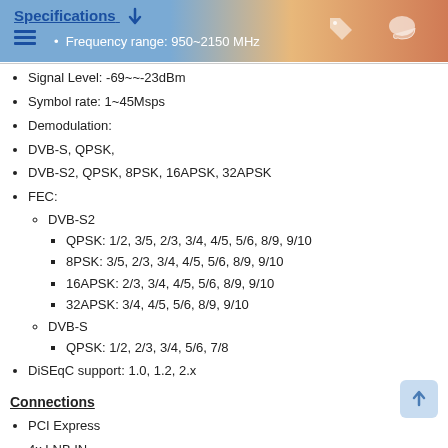Specifications
Frequency range: 950~2150 MHz
Signal Level: -69~~-23dBm
Symbol rate: 1~45Msps
Demodulation:
DVB-S, QPSK,
DVB-S2, QPSK, 8PSK, 16APSK, 32APSK
FEC:
DVB-S2
QPSK: 1/2, 3/5, 2/3, 3/4, 4/5, 5/6, 8/9, 9/10
8PSK: 3/5, 2/3, 3/4, 4/5, 5/6, 8/9, 9/10
16APSK: 2/3, 3/4, 4/5, 5/6, 8/9, 9/10
32APSK: 3/4, 4/5, 5/6, 8/9, 9/10
DVB-S
QPSK: 1/2, 2/3, 3/4, 5/6, 7/8
DiSEqC support: 1.0, 1.2, 2.x
Connections
PCI Express
4x LNB IN